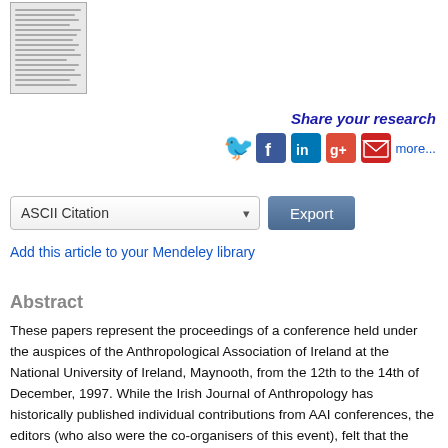[Figure (photo): Thumbnail image of a document/paper page, shown as a small bordered preview with dense text lines visible]
Share your research
[Figure (infographic): Social sharing icons: Twitter (bird, blue), Facebook (f, blue), LinkedIn (in, dark blue), Google+ (g+, red), Email (envelope, red), followed by 'more...' link]
ASCII Citation Export
Add this article to your Mendeley library
Abstract
These papers represent the proceedings of a conference held under the auspices of the Anthropological Association of Ireland at the National University of Ireland, Maynooth, from the 12th to the 14th of December, 1997. While the Irish Journal of Anthropology has historically published individual contributions from AAI conferences, the editors (who also were the co-organisers of this event), felt that the quality and thematic connection of the papers at these meetings were such that a special edition of the Journal was justified. A combination of factors, however, from the academic duties of